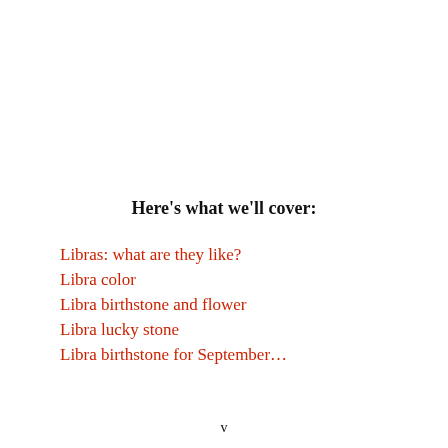Here's what we'll cover:
Libras: what are they like?
Libra color
Libra birthstone and flower
Libra lucky stone
Libra birthstone for September…
v